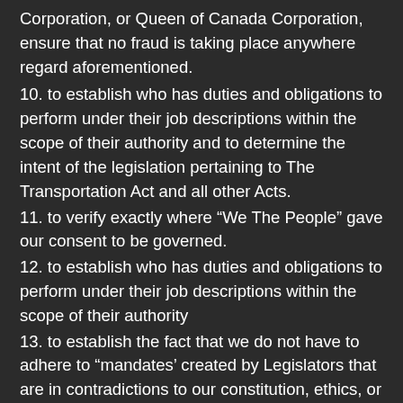Corporation, or Queen of Canada Corporation, ensure that no fraud is taking place anywhere regard aforementioned.
10. to establish who has duties and obligations to perform under their job descriptions within the scope of their authority and to determine the intent of the legislation pertaining to The Transportation Act and all other Acts.
11. to verify exactly where “We The People” gave our consent to be governed.
12. to establish who has duties and obligations to perform under their job descriptions within the scope of their authority
13. to establish the fact that we do not have to adhere to “mandates’ created by Legislators that are in contradictions to our constitution, ethics, or